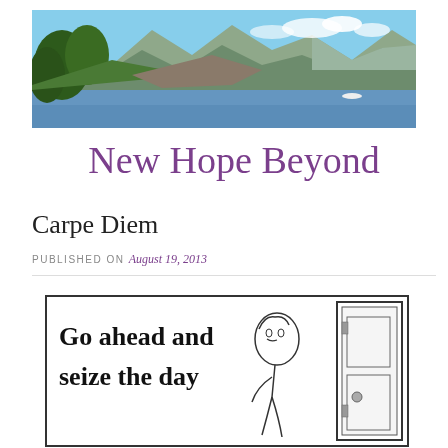[Figure (photo): Landscape photo of a lake with mountains and forested hills in background, used as blog header image]
New Hope Beyond
Carpe Diem
PUBLISHED ON August 19, 2013
[Figure (illustration): Cartoon panel with text 'Go ahead and seize the day' and a sketched figure of a person, black and white line drawing]